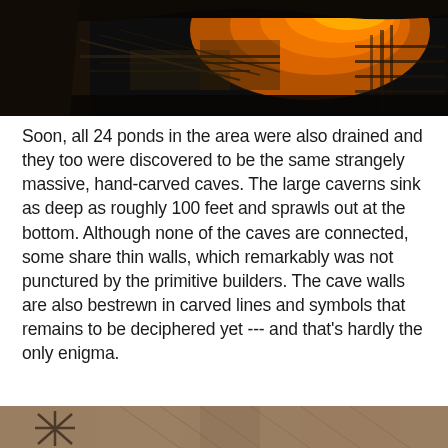[Figure (photo): Dark cave or canyon interior with dramatic orange/amber light illuminating rock formations and what appears to be industrial or structural elements with metal railings]
Soon, all 24 ponds in the area were also drained and they too were discovered to be the same strangely massive, hand-carved caves. The large caverns sink as deep as roughly 100 feet and sprawls out at the bottom. Although none of the caves are connected, some share thin walls, which remarkably was not punctured by the primitive builders. The cave walls are also bestrewn in carved lines and symbols that remains to be deciphered yet --- and that's hardly the only enigma.
[Figure (photo): Partial view of what appears to be a stone or rock surface with some carved or etched markings visible at the bottom edge of the page]